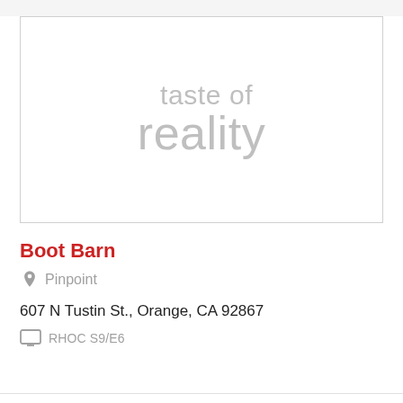[Figure (logo): Taste of Reality logo — grey text reading 'taste of' on first line and 'reality' larger on second line, inside a bordered rectangle]
Boot Barn
Pinpoint
607 N Tustin St., Orange, CA 92867
RHOC S9/E6